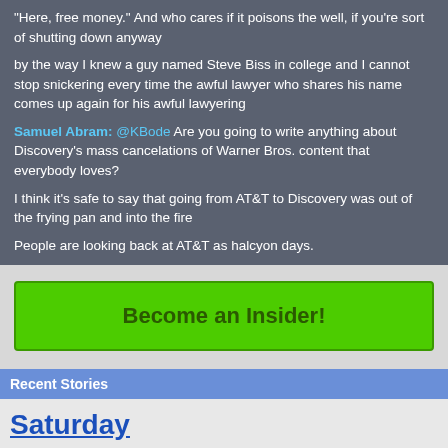"Here, free money." And who cares if it poisons the well, if you're sort of shutting down anyway
by the way I knew a guy named Steve Biss in college and I cannot stop snickering every time the awful lawyer who shares his name comes up again for his awful lawyering
Samuel Abram: @KBode Are you going to write anything about Discovery's mass cancelations of Warner Bros. content that everybody loves?
I think it's safe to say that going from AT&T to Discovery was out of the frying pan and into the fire
People are looking back at AT&T as halcyon days.
Become an Insider!
Recent Stories
Saturday
This site, like most other sites on the web, uses cookies. For more information, see our privacy policy
GOT IT